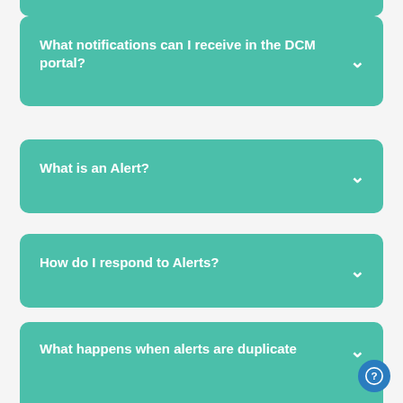What notifications can I receive in the DCM portal?
What is an Alert?
How do I respond to Alerts?
What is Outcome or Refunded data in the Alerts queue?
What happens when alerts are duplicate